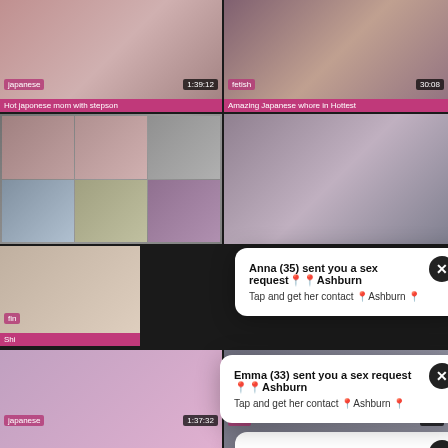[Figure (screenshot): Video thumbnail grid with popups. Top-left: japanese tagged video, 1:39:12, title 'Hot japonese mom with stepson'. Top-right: fetish tagged video, 30:08, title 'Amazing Japanese whore in Hottest'. Middle-left: Japanese DVD cover grid thumbnail. Middle-right: close-up video thumbnail. Below middle: partially visible thumbnails. Two popup modals overlaying the grid: 1) 'Anna (35) sent you a sex request Ashburn / Tap and get her contact Ashburn' with X close button. 2) 'Emma (33) sent you a sex request Ashburn / Tap and get her contact Ashburn' with X close button. Bottom row: japanese 1:37:32 and bbw 5:22 tagged thumbnails.]